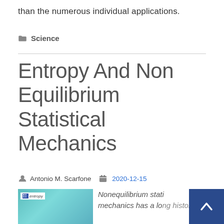than the numerous individual applications.
Science
Entropy And Non Equilibrium Statistical Mechanics
Antonio M. Scarfone  2020-12-15
[Figure (photo): Book/journal cover image for Entropy journal with teal/cyan colored illustration]
Nonequilibrium statistical mechanics has a long history